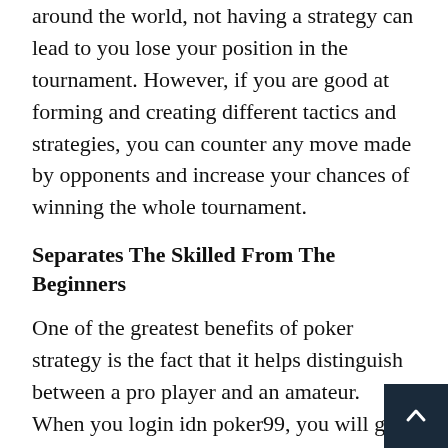around the world, not having a strategy can lead to you lose your position in the tournament. However, if you are good at forming and creating different tactics and strategies, you can counter any move made by opponents and increase your chances of winning the whole tournament.
Separates The Skilled From The Beginners
One of the greatest benefits of poker strategy is the fact that it helps distinguish between a pro player and an amateur. When you login idn poker99, you will get to encounter players who are good, bad, or even struggling.
Usually, the bad players or players who struggle are the ones who do not make use of strategy and simply play for the heck of it. A pro would not w to be mistaken for a beginner. This is where